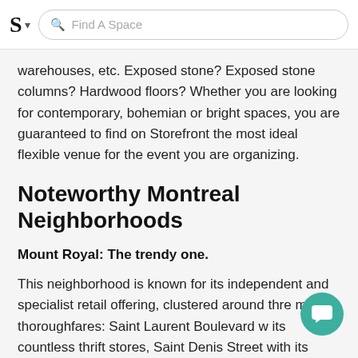S ▾  Find A Space
warehouses, etc. Exposed stone? Exposed stone columns? Hardwood floors? Whether you are looking for contemporary, bohemian or bright spaces, you are guaranteed to find on Storefront the most ideal flexible venue for the event you are organizing.
Noteworthy Montreal Neighborhoods
Mount Royal: The trendy one.
This neighborhood is known for its independent and specialist retail offering, clustered around three major thoroughfares: Saint Laurent Boulevard with its countless thrift stores, Saint Denis Street with its